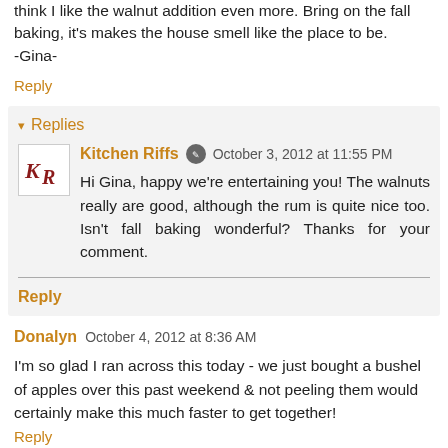think I like the walnut addition even more. Bring on the fall baking, it's makes the house smell like the place to be.
-Gina-
Reply
Replies
Kitchen Riffs  October 3, 2012 at 11:55 PM
Hi Gina, happy we're entertaining you! The walnuts really are good, although the rum is quite nice too. Isn't fall baking wonderful? Thanks for your comment.
Reply
Donalyn  October 4, 2012 at 8:36 AM
I'm so glad I ran across this today - we just bought a bushel of apples over this past weekend & not peeling them would certainly make this much faster to get together!
Reply